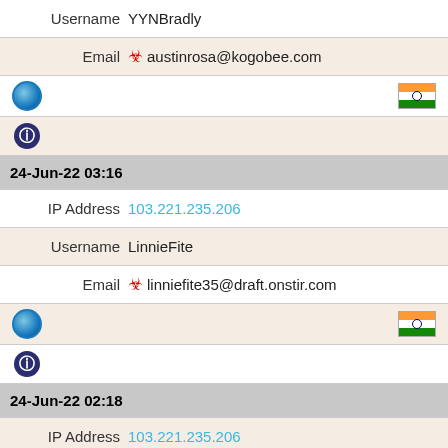| Username | YYNBradly |
| Email | ⚠ austinrosa@kogobee.com |
| [globe icon] | [india flag] |
| [info icon] |  |
| 24-Jun-22 03:16 |  |
| IP Address | 103.221.235.206 |
| Username | LinnieFite |
| Email | ⚠ linniefite35@draft.onstir.com |
| [globe icon] | [india flag] |
| [info icon] |  |
| 24-Jun-22 02:18 |  |
| IP Address | 103.221.235.206 |
| Username | AlenaDane |
| Email | ⚠ alenadane48@free.pieurl.com |
| [globe icon] | [india flag] |
| [info icon] |  |
| 24-Jun-22 01:57 |  |